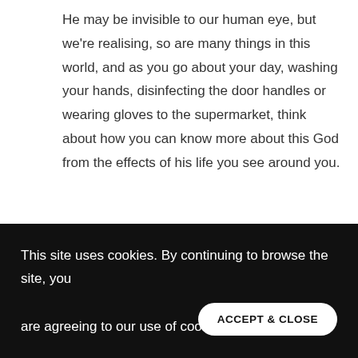He may be invisible to our human eye, but we're realising, so are many things in this world, and as you go about your day, washing your hands, disinfecting the door handles or wearing gloves to the supermarket, think about how you can know more about this God from the effects of his life you see around you.
[Figure (other): Social sharing buttons: Facebook (blue), Twitter (blue), WhatsApp (green), Email (blue), Copy Link (blue)]
[Figure (photo): Image with cloudy sky background and bold blue text reading 'GOD EXISTS']
This site uses cookies. By continuing to browse the site, you are agreeing to our use of cookies.